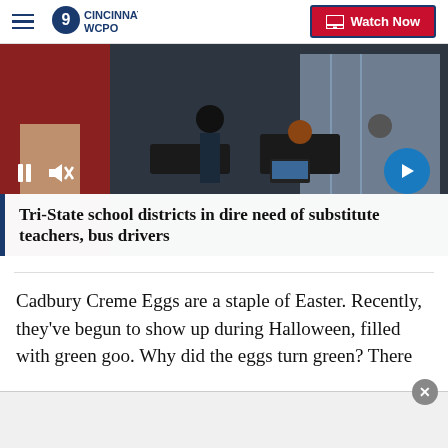WCPO 9 CINCINNATI | Watch Now
[Figure (screenshot): Video thumbnail showing a classroom scene with students and a standing person, with video playback controls (pause and mute icons) and a next arrow button]
Tri-State school districts in dire need of substitute teachers, bus drivers
Cadbury Creme Eggs are a staple of Easter. Recently, they've begun to show up during Halloween, filled with green goo. Why did the eggs turn green? There